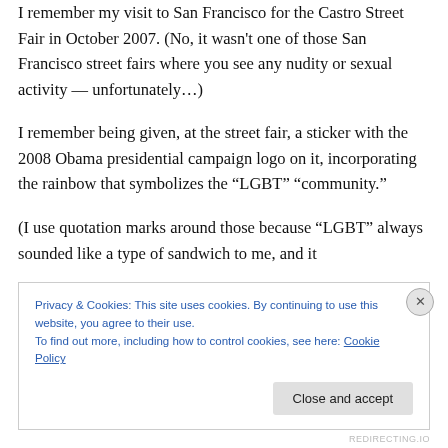I remember my visit to San Francisco for the Castro Street Fair in October 2007. (No, it wasn't one of those San Francisco street fairs where you see any nudity or sexual activity — unfortunately…)
I remember being given, at the street fair, a sticker with the 2008 Obama presidential campaign logo on it, incorporating the rainbow that symbolizes the “LGBT” “community.”
(I use quotation marks around those because “LGBT” always sounded like a type of sandwich to me, and it
Privacy & Cookies: This site uses cookies. By continuing to use this website, you agree to their use.
To find out more, including how to control cookies, see here: Cookie Policy
Close and accept
REDIRECTING.IO